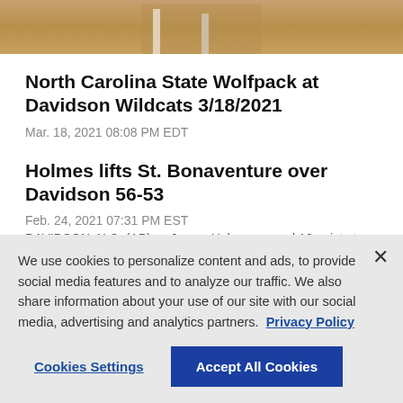[Figure (photo): Cropped bottom portion of a sports/basketball photo showing legs and floor]
North Carolina State Wolfpack at Davidson Wildcats 3/18/2021
Mar. 18, 2021 08:08 PM EDT
Holmes lifts St. Bonaventure over Davidson 56-53
Feb. 24, 2021 07:31 PM EST
DAVIDSON, N.C. (AP) — James Holmes scored 16 points to St...
We use cookies to personalize content and ads, to provide social media features and to analyze our traffic. We also share information about your use of our site with our social media, advertising and analytics partners. Privacy Policy
Cookies Settings
Accept All Cookies